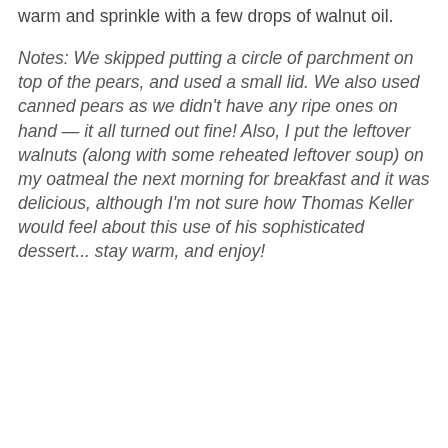warm and sprinkle with a few drops of walnut oil.
Notes: We skipped putting a circle of parchment on top of the pears, and used a small lid. We also used canned pears as we didn't have any ripe ones on hand — it all turned out fine! Also, I put the leftover walnuts (along with some reheated leftover soup) on my oatmeal the next morning for breakfast and it was delicious, although I'm not sure how Thomas Keller would feel about this use of his sophisticated dessert... stay warm, and enjoy!